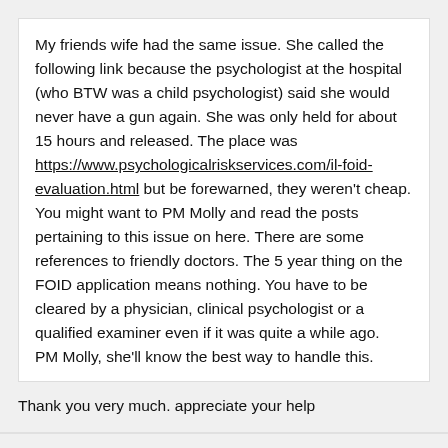My friends wife had the same issue. She called the following link because the psychologist at the hospital (who BTW was a child psychologist) said she would never have a gun again. She was only held for about 15 hours and released. The place was https://www.psychologicalriskservices.com/il-foid-evaluation.html but be forewarned, they weren't cheap. You might want to PM Molly and read the posts pertaining to this issue on here. There are some references to friendly doctors. The 5 year thing on the FOID application means nothing. You have to be cleared by a physician, clinical psychologist or a qualified examiner even if it was quite a while ago.
PM Molly, she'll know the best way to handle this.
Thank you very much. appreciate your help
pingpong45
Posted October 10, 2017 at 03:34 AM